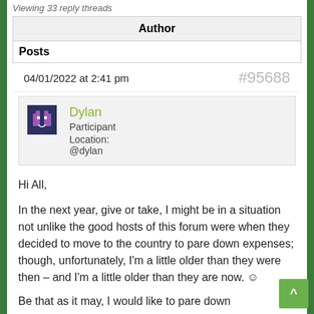Viewing 33 reply threads
| Author |
| --- |
| Posts |
04/01/2022 at 2:41 pm   #95688
Dylan
Participant
Location:
@dylan
Hi All,

In the next year, give or take, I might be in a situation not unlike the good hosts of this forum were when they decided to move to the country to pare down expenses; though, unfortunately, I'm a little older than they were then – and I'm a little older than they are now. ☺

Be that as it may, I would like to pare down